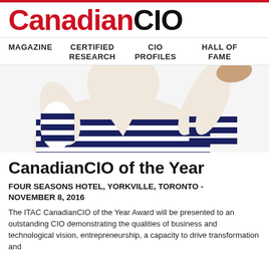CanadianCIO
MAGAZINE   CERTIFIED RESEARCH   CIO PROFILES   HALL OF FAME
[Figure (photo): Person wearing a navy and white striped top, arm raised, photographed from shoulders down against a white background.]
CanadianCIO of the Year
FOUR SEASONS HOTEL, YORKVILLE, TORONTO - NOVEMBER 8, 2016
The ITAC CanadianCIO of the Year Award will be presented to an outstanding CIO demonstrating the qualities of business and technological vision, entrepreneurship, a capacity to drive transformation and